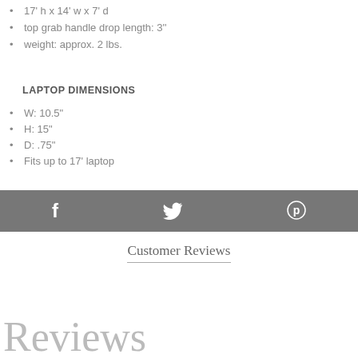17' h x 14' w x 7' d
top grab handle drop length: 3''
weight: approx. 2 lbs.
LAPTOP DIMENSIONS
W: 10.5"
H: 15"
D: .75"
Fits up to 17' laptop
[Figure (infographic): Social sharing bar with Facebook, Twitter, and Pinterest icons on gray background]
Customer Reviews
Reviews